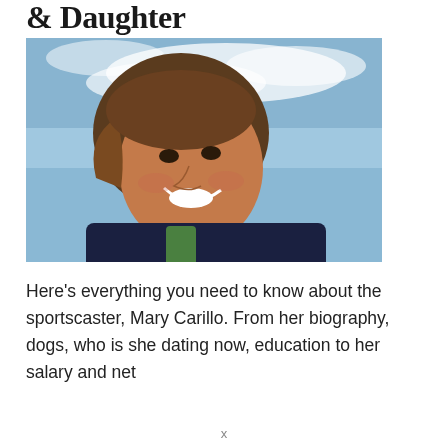& Daughter
[Figure (photo): Selfie-style photo of a smiling woman (Mary Carillo) with brown hair pulled back, outdoors against a blue sky with white clouds, wearing a dark jacket with green accents.]
Here's everything you need to know about the sportscaster, Mary Carillo. From her biography, dogs, who is she dating now, education to her salary and net
x